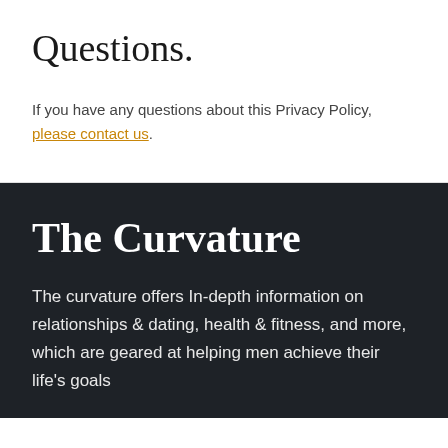Questions.
If you have any questions about this Privacy Policy, please contact us.
The Curvature
The curvature offers In-depth information on relationships & dating, health & fitness, and more, which are geared at helping men achieve their life's goals